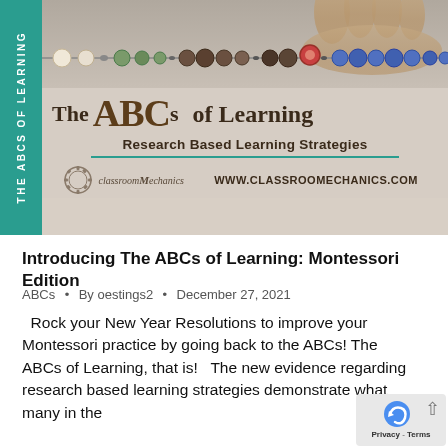[Figure (illustration): Banner for 'The ABCs of Learning: Research Based Learning Strategies' from classroomMechanics. Features a teal vertical strip on left with rotated text 'THE ABCS OF LEARNING', a photo of hands with beads at top, large styled ABC letters, subtitle 'Research Based Learning Strategies', a teal horizontal line, logo with gear, and website URL www.classroomechanics.com]
Introducing The ABCs of Learning: Montessori Edition
ABCs · By oestings2 · December 27, 2021
Rock your New Year Resolutions to improve your Montessori practice by going back to the ABCs! The ABCs of Learning, that is!  The new evidence regarding research based learning strategies demonstrate what many in the